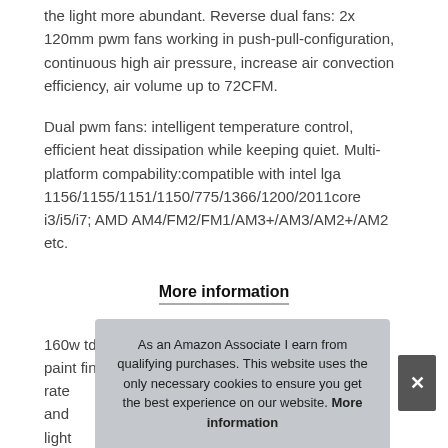the light more abundant. Reverse dual fans: 2x 120mm pwm fans working in push-pull-configuration, continuous high air pressure, increase air convection efficiency, air volume up to 72CFM.
Dual pwm fans: intelligent temperature control, efficient heat dissipation while keeping quiet. Multi-platform compability:compatible with intel lga 1156/1155/1151/1150/775/1366/1200/2011core i3/i5/i7; AMD AM4/FM2/FM1/AM3+/AM3/AM2+/AM2 etc.
More information
160w tdp: 6 u-shaped pure copper heat pipes, black paint finis[h]... rate[d]... and... light... synchronization motherboard.
As an Amazon Associate I earn from qualifying purchases. This website uses the only necessary cookies to ensure you get the best experience on our website. More information